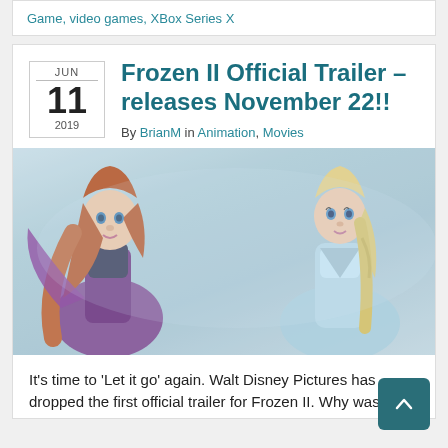Game, video games, XBox Series X
Frozen II Official Trailer – releases November 22!!
By BrianM in Animation, Movies
[Figure (illustration): Illustrated scene from Frozen II showing Anna (left, auburn hair, purple cape) and Elsa (right, blonde braided hair, light blue dress) against a misty blue background]
It's time to 'Let it go' again. Walt Disney Pictures has dropped the first official trailer for Frozen II. Why was Elsa